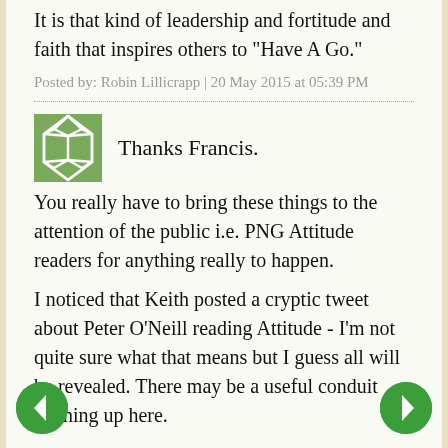It is that kind of leadership and fortitude and faith that inspires others to "Have A Go."
Posted by: Robin Lillicrapp | 20 May 2015 at 05:39 PM
Thanks Francis.
You really have to bring these things to the attention of the public i.e. PNG Attitude readers for anything really to happen.
I noticed that Keith posted a cryptic tweet about Peter O'Neill reading Attitude - I'm not quite sure what that means but I guess all will be revealed. There may be a useful conduit opening up here.